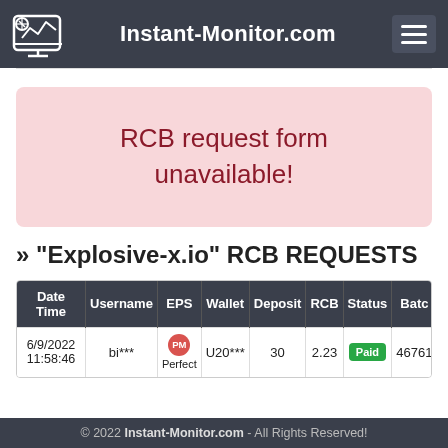Instant-Monitor.com
RCB request form unavailable!
» "Explosive-x.io" RCB REQUESTS
| Date Time | Username | EPS | Wallet | Deposit | RCB | Status | Batc |
| --- | --- | --- | --- | --- | --- | --- | --- |
| 6/9/2022 11:58:46 | bi*** | PM Perfect | U20*** | 30 | 2.23 | Paid | 46761 |
© 2022 Instant-Monitor.com - All Rights Reserved!